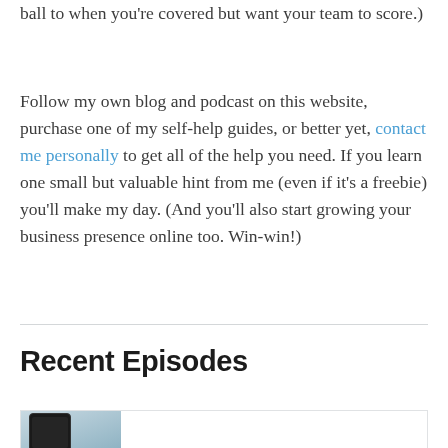ball to when you're covered but want your team to score.)
Follow my own blog and podcast on this website, purchase one of my self-help guides, or better yet, contact me personally to get all of the help you need. If you learn one small but valuable hint from me (even if it's a freebie) you'll make my day. (And you'll also start growing your business presence online too. Win-win!)
Recent Episodes
[Figure (photo): Partial view of an episode card showing a phone/device image on the left side]